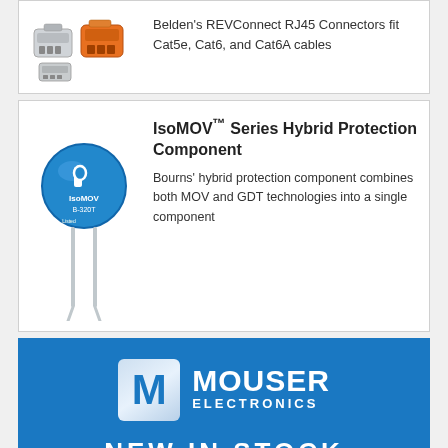[Figure (photo): Belden REVConnect RJ45 connectors in grey and orange colors]
Belden's REVConnect RJ45 Connectors fit Cat5e, Cat6, and Cat6A cables
[Figure (photo): Blue IsoMOV disc component with two leads, Bourns brand logo]
IsoMOV™ Series Hybrid Protection Component
Bourns' hybrid protection component combines both MOV and GDT technologies into a single component
[Figure (logo): Mouser Electronics logo on blue background with NEW IN STOCK text]